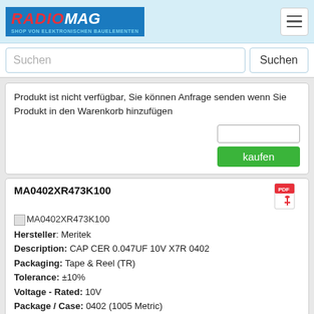RADIOMAG - SHOP VON ELEKTRONISCHEN BAUELEMENTEN
Produkt ist nicht verfügbar, Sie können Anfrage senden wenn Sie Produkt in den Warenkorb hinzufügen
kaufen
MA0402XR473K100
Hersteller: Meritek
Description: CAP CER 0.047UF 10V X7R 0402
Packaging: Tape & Reel (TR)
Tolerance: ±10%
Voltage - Rated: 10V
Package / Case: 0402 (1005 Metric)
Temperature Coefficient: X7R
Size / Dimension: 0.039" L x 0.020" W (1.00mm x 0.50mm)
Mounting Type: Surface Mount, MLCC
Operating Temperature: -55°C ~ 125°C
Applications: General Purpose
Part Status: Active